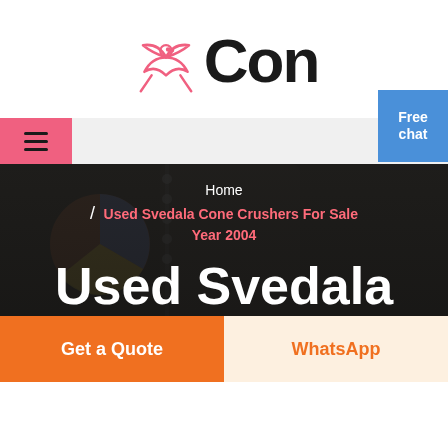[Figure (logo): YCon logo with pink bird/swallow illustration and bold black 'Con' text]
[Figure (screenshot): Navigation bar with pink hamburger menu on left, dark content area, free chat button top right with support agent figure]
Home
/ Used Svedala Cone Crushers For Sale Year 2004
Used Svedala Cone Crushers For
Get a Quote
WhatsApp